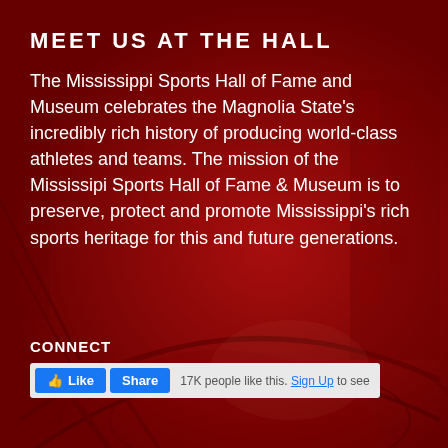MEET US AT THE HALL
The Mississippi Sports Hall of Fame and Museum celebrates the Magnolia State’s incredibly rich history of producing world-class athletes and teams. The mission of the Mississipi Sports Hall of Fame & Museum is to preserve, protect and promote Mississippi’s rich sports heritage for this and future generations.
CONNECT
[Figure (screenshot): Facebook like and share buttons with '17K people like this. Sign Up to see' text]
[Figure (photo): Background image of the interior of the Mississippi Sports Hall of Fame and Museum viewed from above, tinted dark red]